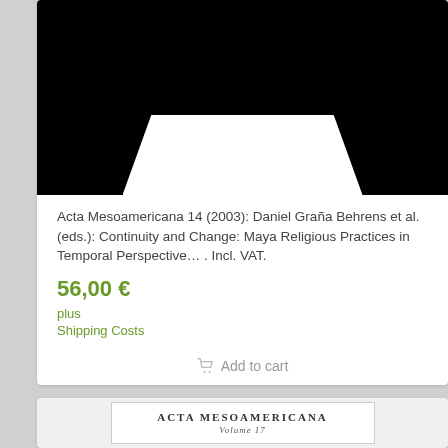[Figure (photo): Black background book cover image with white trapezoid shape at bottom center, partially showing book cover]
Acta Mesoamericana 14 (2003): Daniel Graña Behrens et al. (eds.): Continuity and Change: Maya Religious Practices in Temporal Perspective… . Incl. VAT.
56,00 €
plus
Shipping Costs
Add to cart
[Figure (photo): Bottom of page showing partial book cover with text ACTA MESOAMERICANA Volume 17]